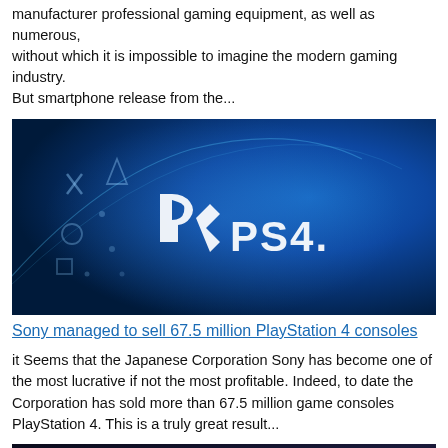manufacturer professional gaming equipment, as well as numerous, without which it is impossible to imagine the modern gaming industry. But smartphone release from the…
[Figure (photo): PlayStation 4 branded blue promotional image with PS4 logo in the center]
Sony managed to sell 67.5 million PlayStation 4 consoles
it Seems that the Japanese Corporation Sony has become one of the most lucrative if not the most profitable. Indeed, to date the Corporation has sold more than 67.5 million game consoles PlayStation 4. This is a truly great result…
[Figure (photo): Partial image visible at bottom of page]